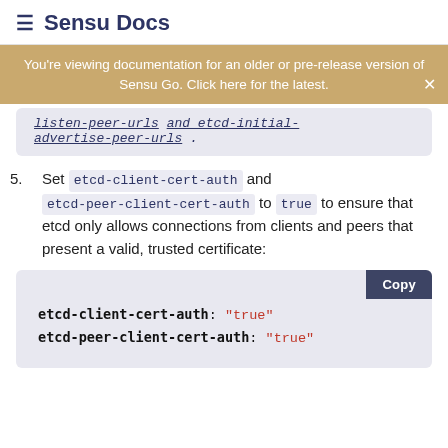≡ Sensu Docs
You're viewing documentation for an older or pre-release version of Sensu Go. Click here for the latest.
listen-peer-urls and etcd-initial-advertise-peer-urls .
5. Set etcd-client-cert-auth and etcd-peer-client-cert-auth to true to ensure that etcd only allows connections from clients and peers that present a valid, trusted certificate:
etcd-client-cert-auth: "true"
etcd-peer-client-cert-auth: "true"